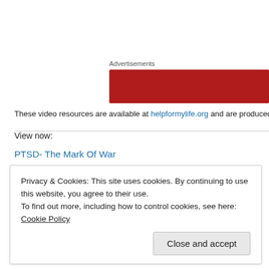Advertisements
[Figure (other): Red advertisement banner]
These video resources are available at helpformylife.org and are produced by RB
View now:
PTSD- The Mark Of War
PTSD- The Symptoms (Part 1)
PTSD- The Symptoms (Part 2)
PTSD- Am I Ever Going To Be Normal
PTSD- Unpacking The Pain Of War
Privacy & Cookies: This site uses cookies. By continuing to use this website, you agree to their use.
To find out more, including how to control cookies, see here: Cookie Policy
Close and accept